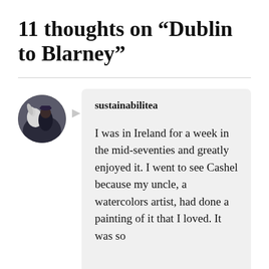11 thoughts on “Dublin to Blarney”
sustainabilitea
I was in Ireland for a week in the mid-seventies and greatly enjoyed it. I went to see Cashel because my uncle, a watercolors artist, had done a painting of it that I loved. It was so